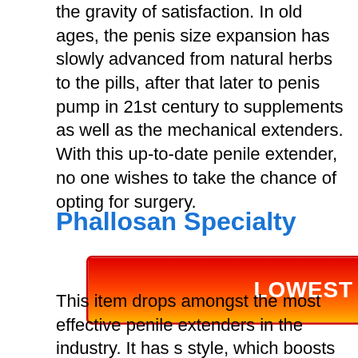the gravity of satisfaction. In old ages, the penis size expansion has slowly advanced from natural herbs to the pills, after that later to penis pump in 21st century to supplements as well as the mechanical extenders. With this up-to-date penile extender, no one wishes to take the chance of opting for surgery.
Phallosan Specialty
[Figure (other): Red to orange gradient call-to-action button with white bold text reading LOWEST PRICE HERE]
This item drops amongst the most effective penile extenders in the industry. It has s style, which boosts the penis size by extending it out. You must understand that